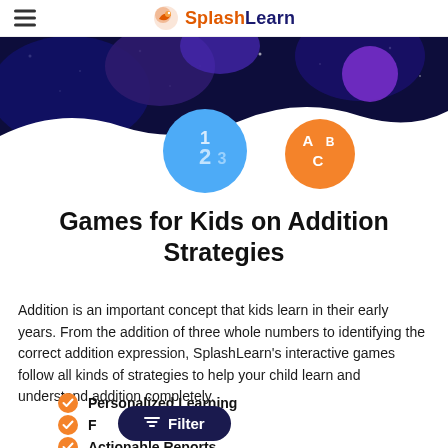SplashLearn
[Figure (illustration): Dark navy banner with colorful floating bubbles/blobs, a blue circle with '123' text and an orange circle with 'ABC' text on a space-like background]
Games for Kids on Addition Strategies
Addition is an important concept that kids learn in their early years. From the addition of three whole numbers to identifying the correct addition expression, SplashLearn's interactive games follow all kinds of strategies to help your child learn and understand addition completely.
Personalized Learning
F...
Actionable Reports